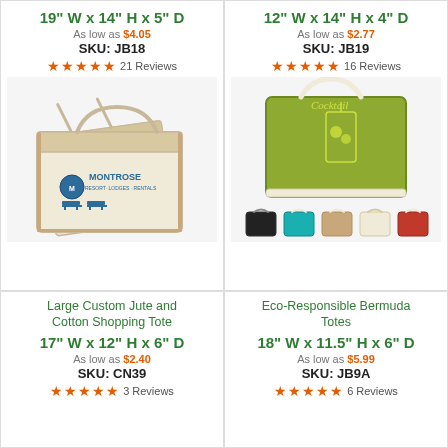19" W x 14" H x 5" D
As low as $4.05
SKU: JB18
★★★★★ 21 Reviews
[Figure (photo): Large custom jute and cotton shopping tote bag with Montrose branding]
12" W x 14" H x 4" D
As low as $2.77
SKU: JB19
★★★★★ 16 Reviews
[Figure (photo): Eco-Responsible Bermuda Tote bag in green with cocktail design, shown in multiple colors: black, teal, tan, cream, red]
Large Custom Jute and Cotton Shopping Tote
17" W x 12" H x 6" D
As low as $2.40
SKU: CN39
★★★★★ 3 Reviews
Eco-Responsible Bermuda Totes
18" W x 11.5" H x 6" D
As low as $5.99
SKU: JB9A
★★★★★ 6 Reviews